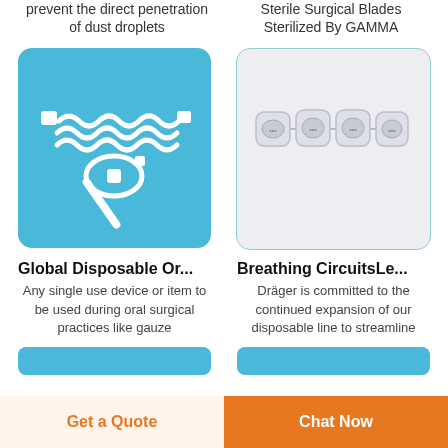prevent the direct penetration of dust droplets
Sterile Surgical Blades Sterilized By GAMMA
[Figure (photo): Disposable oral surgical device on blue background]
[Figure (photo): Breathing circuit components in sealed packages on light background]
Global Disposable Or...
Breathing CircuitsLe...
Any single use device or item to be used during oral surgical practices like gauze
Dräger is committed to the continued expansion of our disposable line to streamline
Get a Quote
Chat Now